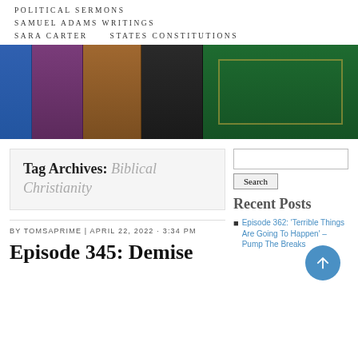POLITICAL SERMONS
SAMUEL ADAMS WRITINGS
SARA CARTER      STATES CONSTITUTIONS
[Figure (photo): Row of old hardcover books spines visible: blue, purple, brown, black, green]
Tag Archives: Biblical Christianity
BY TOMSAPRIME | APRIL 22, 2022 · 3:34 PM
Episode 345: Demise
[Figure (other): Search input box and Search button]
Recent Posts
Episode 362: 'Terrible Things Are Going To Happen' – Pump The Breaks